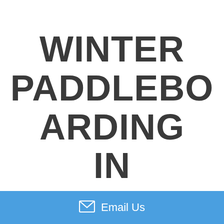WINTER PADDLEBOARDING IN
Email Us